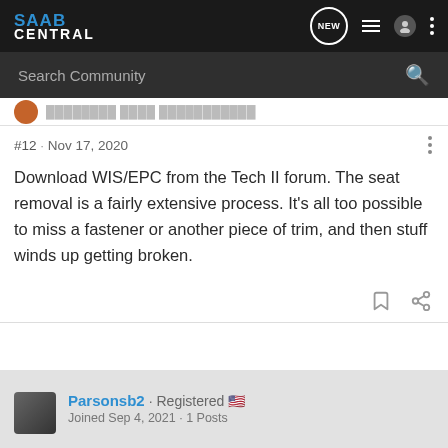SAAB CENTRAL
Search Community
#12 · Nov 17, 2020
Download WIS/EPC from the Tech II forum. The seat removal is a fairly extensive process. It's all too possible to miss a fastener or another piece of trim, and then stuff winds up getting broken.
Parsonsb2 · Registered 🇺🇸
Joined Sep 4, 2021 · 1 Posts